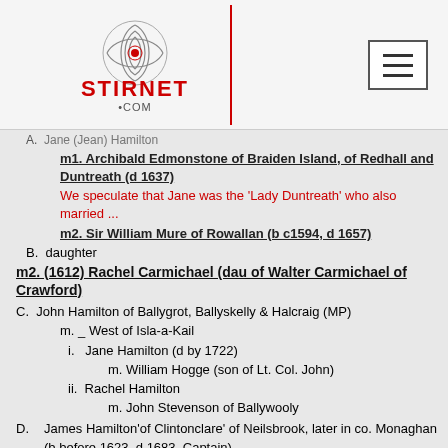Stirnet.com logo and navigation
A. Jane (Jean) Hamilton
m1. Archibald Edmonstone of Braiden Island, of Redhall and Duntreath (d 1637)
We speculate that Jane was the 'Lady Duntreath' who also married ...
m2. Sir William Mure of Rowallan (b c1594, d 1657)
B. daughter
m2. (1612) Rachel Carmichael (dau of Walter Carmichael of Crawford)
C. John Hamilton of Ballygrot, Ballyskelly & Halcraig (MP)
m. _ West of Isla-a-Kail
i. Jane Hamilton (d by 1722)
m. William Hogge (son of Lt. Col. John)
ii. Rachel Hamilton
m. John Stevenson of Ballywooly
D. James Hamilton'of Clintonclare' of Neilsbrook, later in co. Monaghan (b before 1623, d 1683, Captain)
m. (c1640) Agnes Kennedy (a 1683, dau of Sir Alexander Kennedy of Culzean)
i. Rose Hamilton (dsp before 10.1696)